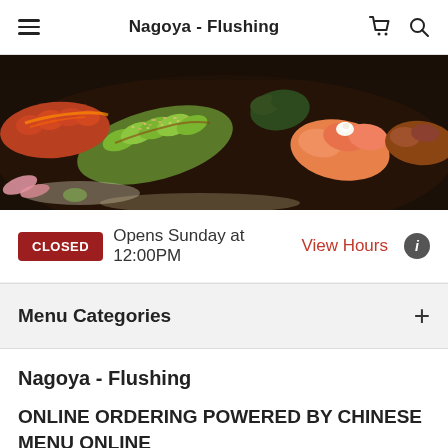Nagoya - Flushing
[Figure (photo): Close-up photo of assorted sushi rolls including avocado rolls with sesame seeds, salmon rolls with cream cheese, and other colorful sushi pieces arranged on a dark platter.]
CLOSED   Opens Sunday at 12:00PM   View Hours
Menu Categories
Nagoya - Flushing
ONLINE ORDERING POWERED BY CHINESE MENU ONLINE
TERMS OF SERVICE
Last Updated: May 31, 2021